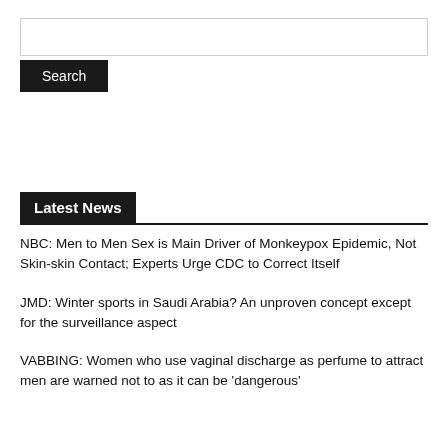[Figure (other): Search input box]
Search
Latest News
NBC: Men to Men Sex is Main Driver of Monkeypox Epidemic, Not Skin-skin Contact; Experts Urge CDC to Correct Itself
JMD: Winter sports in Saudi Arabia? An unproven concept except for the surveillance aspect
VABBING: Women who use vaginal discharge as perfume to attract men are warned not to as it can be 'dangerous'